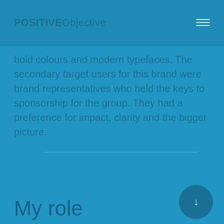POSITIVEObjective
bold colours and modern typefaces. The secondary target users for this brand were brand representatives who held the keys to sponsorship for the group. They had a preference for impact, clarity and the bigger picture.
My role